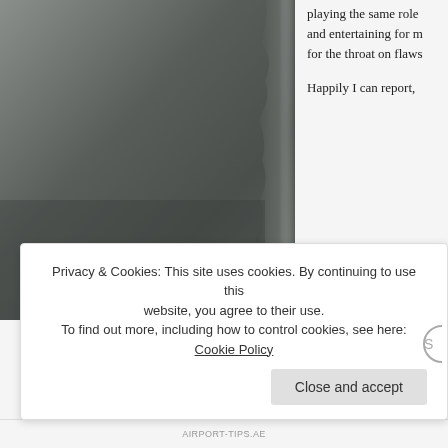[Figure (photo): A dark grayish photo/image occupying the left portion of the page, appearing to show a dark textured surface with a torn or rough right edge blending into the white background.]
playing the same role and entertaining for m for the throat on flaws
Happily I can report,
Privacy & Cookies: This site uses cookies. By continuing to use this website, you agree to their use. To find out more, including how to control cookies, see here: Cookie Policy
Close and accept
AIRPORT-TIPS.AE